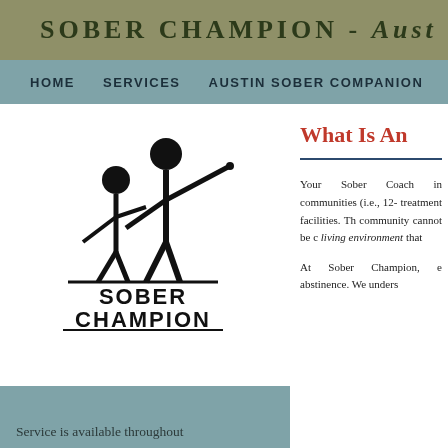SOBER CHAMPION - Aust
HOME   SERVICES   AUSTIN SOBER COMPANION
[Figure (logo): Sober Champion logo: two stick figures, one taller pointing forward, standing on a baseline, with text SOBER CHAMPION below]
Service is available throughout
What Is An
Your Sober Coach in communities (i.e., 12- treatment facilities. Th community cannot be c living environment that
At Sober Champion, e abstinence. We unders